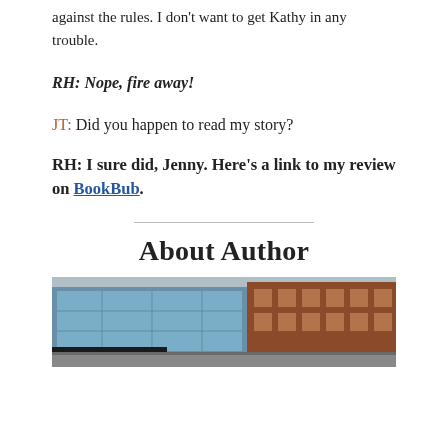against the rules. I don't want to get Kathy in any trouble.
RH: Nope, fire away!
JT: Did you happen to read my story?
RH: I sure did, Jenny. Here’s a link to my review on BookBub.
About Author
[Figure (photo): Street-level photo of brick and glass commercial buildings with awnings and a sidewalk, partially cropped at the bottom of the page.]